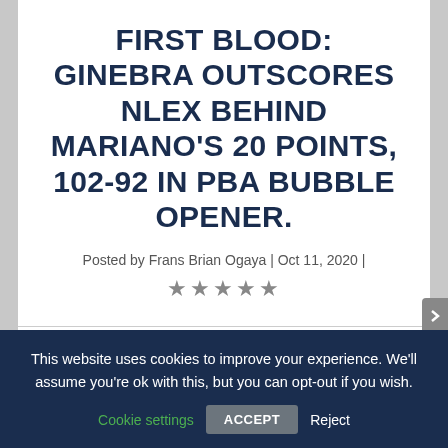FIRST BLOOD: GINEBRA OUTSCORES NLEX BEHIND MARIANO'S 20 POINTS, 102-92 IN PBA BUBBLE OPENER.
Posted by Frans Brian Ogaya | Oct 11, 2020 |
★★★★★
SHARE:
[Figure (other): Social share icons: Facebook, Twitter, Tumblr, LinkedIn, Email, Print]
This website uses cookies to improve your experience. We'll assume you're ok with this, but you can opt-out if you wish. Cookie settings ACCEPT Reject